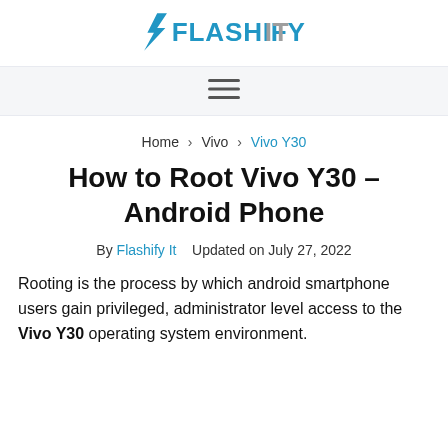[Figure (logo): Flashify It logo with lightning bolt icon, teal and gray text]
[Figure (other): Hamburger menu icon (three horizontal lines)]
Home > Vivo > Vivo Y30
How to Root Vivo Y30 – Android Phone
By Flashify It   Updated on July 27, 2022
Rooting is the process by which android smartphone users gain privileged, administrator level access to the Vivo Y30 operating system environment.